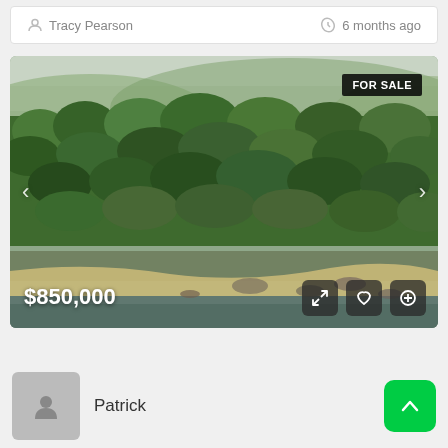Tracy Pearson   6 months ago
[Figure (photo): Aerial drone photo of tropical palm forest land for sale with a beach/water shoreline visible at the bottom. A 'FOR SALE' badge is shown in the top right. Price $850,000 displayed at the bottom left. Navigation arrows on left and right sides.]
$850,000
Patrick